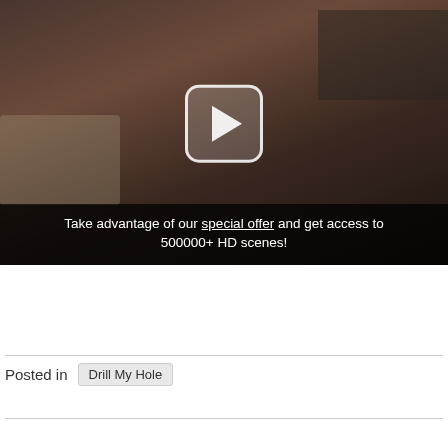[Figure (screenshot): Video player thumbnail showing adult content with a play button overlay and promotional text at the bottom reading: Take advantage of our special offer and get access to 500000+ HD scenes!]
[Figure (photo): Small broken/placeholder image icon]
Posted in  Drill My Hole
Leave a comment